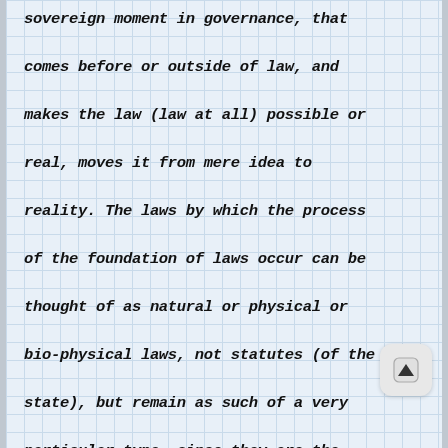sovereign moment in governance, that comes before or outside of law, and makes the law (law at all) possible or real, moves it from mere idea to reality. The laws by which the process of the foundation of laws occur can be thought of as natural or physical or bio-physical laws, not statutes (of the state), but remain as such of a very particular type, since they are the laws by which the other than merely